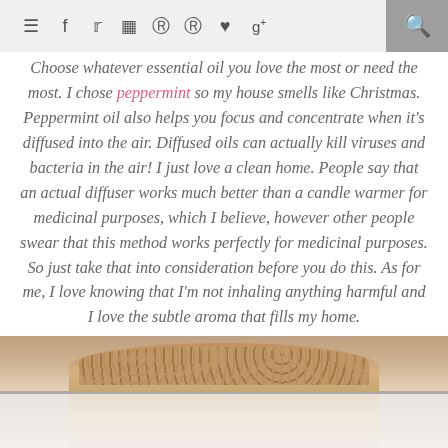≡ f t ⊡ ⊙ ⊙ ♥ g+ 🔍
Choose whatever essential oil you love the most or need the most. I chose peppermint so my house smells like Christmas. Peppermint oil also helps you focus and concentrate when it's diffused into the air. Diffused oils can actually kill viruses and bacteria in the air! I just love a clean home. People say that an actual diffuser works much better than a candle warmer for medicinal purposes, which I believe, however other people swear that this method works perfectly for medicinal purposes. So just take that into consideration before you do this. As for me, I love knowing that I'm not inhaling anything harmful and I love the subtle aroma that fills my home.
[Figure (photo): Photo of a food item, appears to be a donut or pastry with a light-colored glaze and oat or seed coating, partially visible at bottom of page]